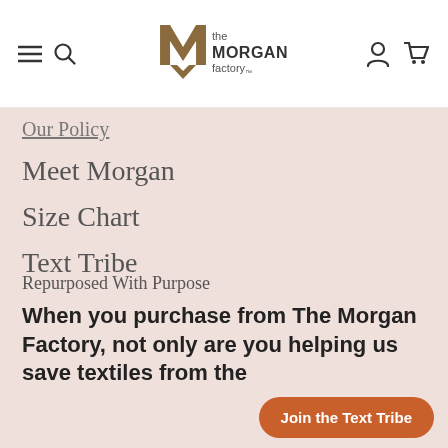[Figure (logo): The Morgan Factory logo with wooden M chevron and text 'the MORGAN factory']
Our Policy
Meet Morgan
Size Chart
Text Tribe
Repurposed With Purpose
When you purchase from The Morgan Factory, not only are you helping us save textiles from the
Join the Text Tribe